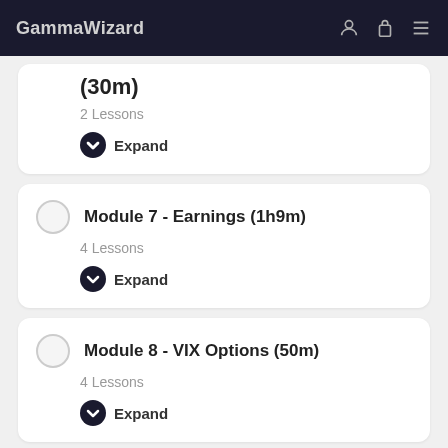GammaWizard
(30m)
2 Lessons
Expand
Module 7 - Earnings (1h9m)
4 Lessons
Expand
Module 8 - VIX Options (50m)
4 Lessons
Expand